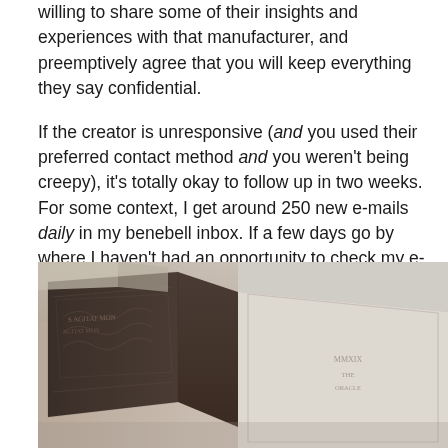willing to share some of their insights and experiences with that manufacturer, and preemptively agree that you will keep everything they say confidential.
If the creator is unresponsive (and you used their preferred contact method and you weren't being creepy), it's totally okay to follow up in two weeks. For some context, I get around 250 new e-mails daily in my benebell inbox. If a few days go by where I haven't had an opportunity to check my e-mail, that piles up and things get lost in the shuffle.
[Figure (photo): Close-up photograph of decorative tarot or oracle card boxes with ornate dark engravings and text reading 'AGITAT' visible on one box, displayed on a light surface.]